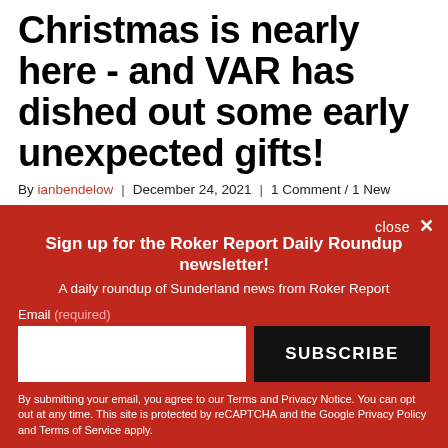Christmas is nearly here - and VAR has dished out some early unexpected gifts!
By ianbendelow | December 24, 2021 | 1 Comment / 1 New
Sign up for the Roker Report Daily Roundup newsletter!
A daily roundup of Sunderland news from Roker Report
Email (required)
SUBSCRIBE
By submitting your email, you agree to our Terms and Privacy Notice. You can opt out at any time. This site is protected by reCAPTCHA and the Google Privacy Policy and Terms of Service apply.